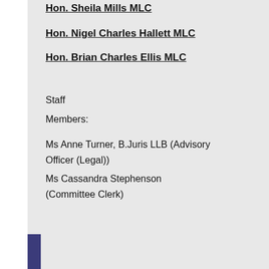Hon. Sheila Mills MLC
Hon. Nigel Charles Hallett MLC
Hon. Brian Charles Ellis MLC
Staff
Members:
Ms Anne Turner, B.Juris LLB (Advisory Officer (Legal))
Ms Cassandra Stephenson (Committee Clerk)